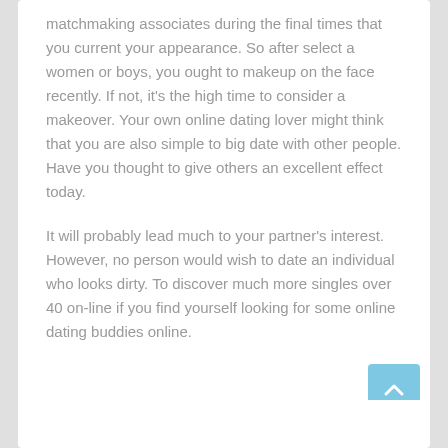matchmaking associates during the final times that you current your appearance. So after select a women or boys, you ought to makeup on the face recently. If not, it's the high time to consider a makeover. Your own online dating lover might think that you are also simple to big date with other people. Have you thought to give others an excellent effect today.
It will probably lead much to your partner's interest. However, no person would wish to date an individual who looks dirty. To discover much more singles over 40 on-line if you find yourself looking for some online dating buddies online.